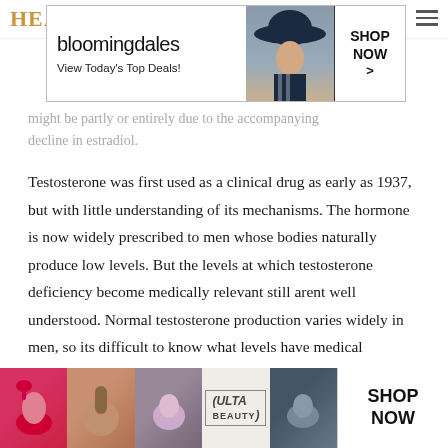HEA
[Figure (other): Bloomingdales advertisement banner with woman in hat. Text: bloomingdales, View Today's Top Deals!, SHOP NOW >]
might be partly or entirely due to the accompanying decline in estradiol.
Testosterone was first used as a clinical drug as early as 1937, but with little understanding of its mechanisms. The hormone is now widely prescribed to men whose bodies naturally produce low levels. But the levels at which testosterone deficiency become medically relevant still arent well understood. Normal testosterone production varies widely in men, so its difficult to know what levels have medical significance. The hormones mechanisms of action are also unclear.
The researchers are conducting follow-up clinical trials to address these questions on the m...
[Figure (other): ULTA beauty advertisement with makeup images, CLOSE button overlay, and SHOP NOW button]